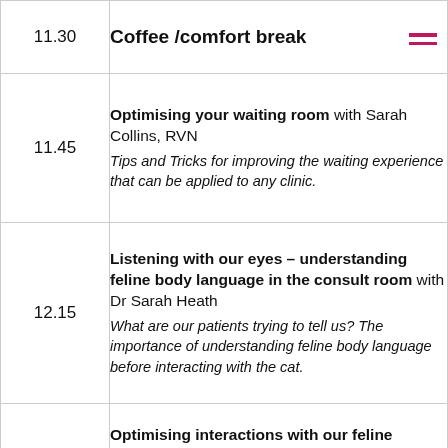| Time | Session |
| --- | --- |
| 11.30 | Coffee /comfort break |
| 11.45 | Optimising your waiting room with Sarah Collins, RVN
Tips and Tricks for improving the waiting experience that can be applied to any clinic. |
| 12.15 | Listening with our eyes – understanding feline body language in the consult room with Dr Sarah Heath
What are our patients trying to tell us? The importance of understanding feline body language before interacting with the cat. |
| 12.45 | Optimising interactions with our feline patients with Dr Sarah Heath.
How to examine and interact with cats in the clinical situation to meet the needs of the cat, vet and caregiver. |